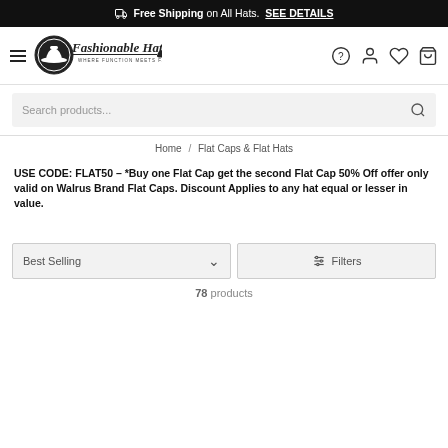🚚 Free Shipping on All Hats. SEE DETAILS
[Figure (logo): Fashionable Hats logo — circular emblem with hat icon and tagline 'Where Function Meets Fashion']
Search products...
Home / Flat Caps & Flat Hats
USE CODE: FLAT50 – *Buy one Flat Cap get the second Flat Cap 50% Off offer only valid on Walrus Brand Flat Caps. Discount Applies to any hat equal or lesser in value.
Best Selling
Filters
78 products